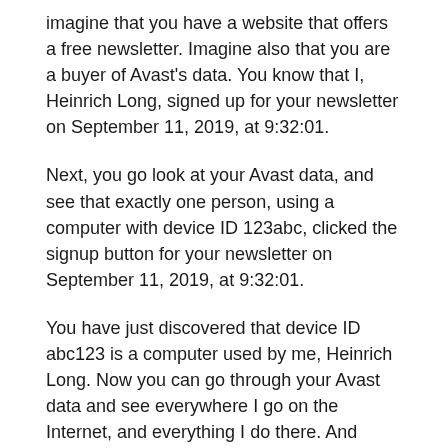imagine that you have a website that offers a free newsletter. Imagine also that you are a buyer of Avast's data. You know that I, Heinrich Long, signed up for your newsletter on September 11, 2019, at 9:32:01.
Next, you go look at your Avast data, and see that exactly one person, using a computer with device ID 123abc, clicked the signup button for your newsletter on September 11, 2019, at 9:32:01.
You have just discovered that device ID abc123 is a computer used by me, Heinrich Long. Now you can go through your Avast data and see everywhere I go on the Internet, and everything I do there. And surely, there are algorithms that make identifying people from such data all the more easier.